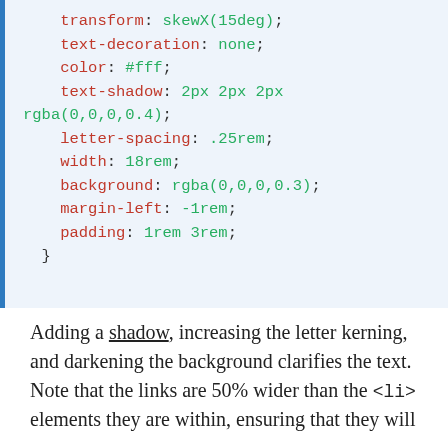transform: skewX(15deg);
    text-decoration: none;
    color: #fff;
    text-shadow: 2px 2px 2px
rgba(0,0,0,0.4);
    letter-spacing: .25rem;
    width: 18rem;
    background: rgba(0,0,0,0.3);
    margin-left: -1rem;
    padding: 1rem 3rem;
}
Adding a shadow, increasing the letter kerning, and darkening the background clarifies the text. Note that the links are 50% wider than the <li> elements they are within, ensuring that they will